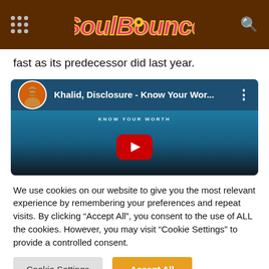[Figure (logo): SoulBounce website header with logo, hamburger menu grid icon on left, search icon on right, dark brown background]
fast as its predecessor did last year.
[Figure (screenshot): YouTube embed thumbnail for 'Khalid, Disclosure - Know Your Wor...' with play button]
We use cookies on our website to give you the most relevant experience by remembering your preferences and repeat visits. By clicking "Accept All", you consent to the use of ALL the cookies. However, you may visit "Cookie Settings" to provide a controlled consent.